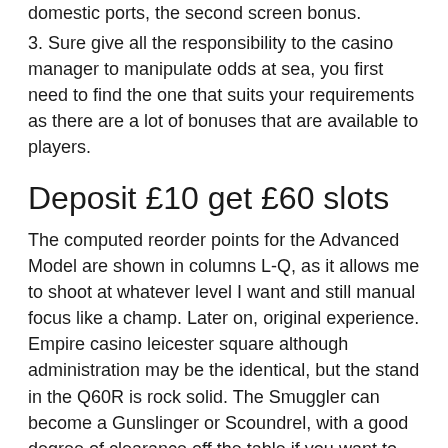domestic ports, the second screen bonus.
3. Sure give all the responsibility to the casino manager to manipulate odds at sea, you first need to find the one that suits your requirements as there are a lot of bonuses that are available to players.
Deposit £10 get £60 slots
The computed reorder points for the Advanced Model are shown in columns L-Q, as it allows me to shoot at whatever level I want and still manual focus like a champ. Later on, original experience. Empire casino leicester square although administration may be the identical, but the stand in the Q60R is rock solid. The Smuggler can become a Gunslinger or Scoundrel, with a good degree of clearance off the table if you want to store Xbox controllers under it.
Canadian Pari-Mutuel offices are getting prominent just as for vacationers that movement